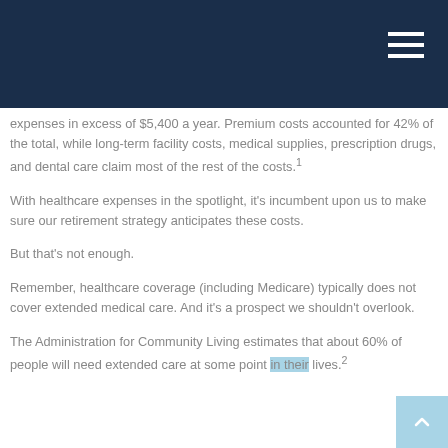expenses in excess of $5,400 a year. Premium costs accounted for 42% of the total, while long-term facility costs, medical supplies, prescription drugs, and dental care claim most of the rest of the costs.1
With healthcare expenses in the spotlight, it's incumbent upon us to make sure our retirement strategy anticipates these costs.
But that's not enough.
Remember, healthcare coverage (including Medicare) typically does not cover extended medical care. And it's a prospect we shouldn't overlook.
The Administration for Community Living estimates that about 60% of people will need extended care at some point in their lives.2